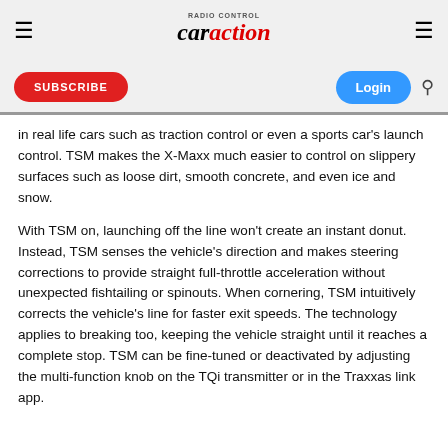car action
in real life cars such as traction control or even a sports car's launch control. TSM makes the X-Maxx much easier to control on slippery surfaces such as loose dirt, smooth concrete, and even ice and snow.
With TSM on, launching off the line won't create an instant donut. Instead, TSM senses the vehicle's direction and makes steering corrections to provide straight full-throttle acceleration without unexpected fishtailing or spinouts. When cornering, TSM intuitively corrects the vehicle's line for faster exit speeds. The technology applies to breaking too, keeping the vehicle straight until it reaches a complete stop. TSM can be fine-tuned or deactivated by adjusting the multi-function knob on the TQi transmitter or in the Traxxas link app.